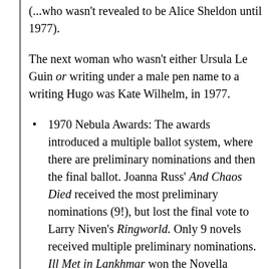(...who wasn't revealed to be Alice Sheldon until 1977).
The next woman who wasn't either Ursula Le Guin or writing under a male pen name to a writing Hugo was Kate Wilhelm, in 1977.
1970 Nebula Awards: The awards introduced a multiple ballot system, where there are preliminary nominations and then the final ballot. Joanna Russ' And Chaos Died received the most preliminary nominations (9!), but lost the final vote to Larry Niven's Ringworld. Only 9 novels received multiple preliminary nominations. Ill Met in Lankhmar won the Novella category, despite receiving a single nomination. "No Award" won Best Short Story. DeVore noted that many SFWA members said that were confused by the ballot and thought they